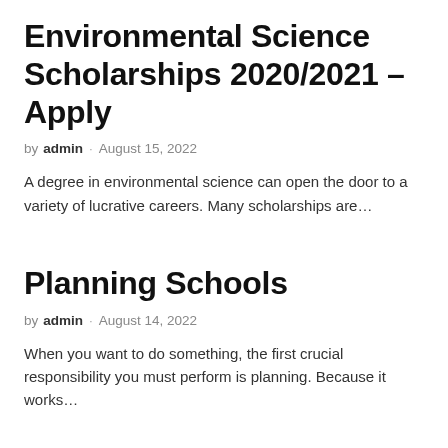Environmental Science Scholarships 2020/2021 – Apply
by admin · August 15, 2022
A degree in environmental science can open the door to a variety of lucrative careers. Many scholarships are…
Planning Schools
by admin · August 14, 2022
When you want to do something, the first crucial responsibility you must perform is planning. Because it works…